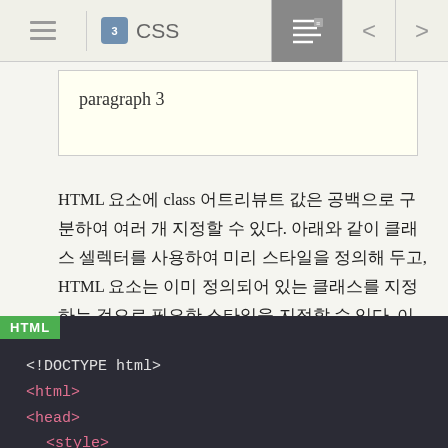CSS
paragraph 3
HTML 요소에 class 어트리뷰트 값은 공백으로 구분하여 여러 개 지정할 수 있다. 아래와 같이 클래스 셀렉터를 사용하여 미리 스타일을 정의해 두고, HTML 요소는 이미 정의되어 있는 클래스를 지정하는 것으로 필요한 스타일을 지정할 수 있다. 이것은 재사용의 측면에서 유용하다.
[Figure (screenshot): HTML code block showing <!DOCTYPE html>, <html>, <head>, <style> tags with a comment about class attribute text-center]